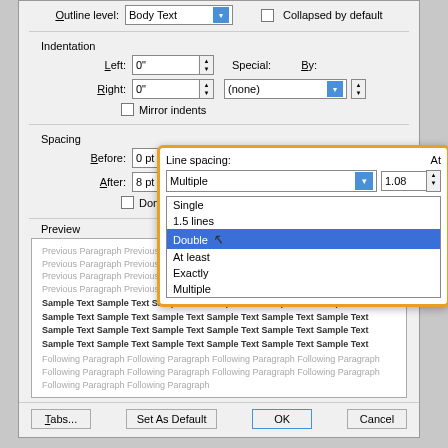[Figure (screenshot): Screenshot of Microsoft Word Paragraph dialog box showing Outline level set to Body Text, Indentation (Left: 0", Right: 0"), Spacing (Before: 0 pt, After: 8 pt), with a Line spacing dropdown open showing options: Single, 1.5 lines, Double (highlighted), At least, Exactly, Multiple. The dropdown is highlighted with an orange border. Preview section at bottom shows sample paragraph text. Buttons: Tabs..., Set As Default, OK, Cancel.]